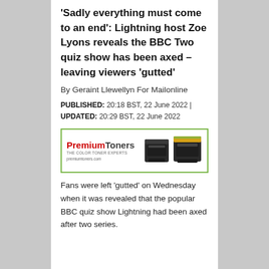‘Sadly everything must come to an end’: Lightning host Zoe Lyons reveals the BBC Two quiz show has been axed – leaving viewers ‘gutted’
By Geraint Llewellyn For Mailonline
PUBLISHED: 20:18 BST, 22 June 2022 | UPDATED: 20:29 BST, 22 June 2022
[Figure (other): Advertisement banner for PremiumToners - The Color Toner Experts, premiumtoners.com, showing toner cartridge products]
Fans were left ‘gutted’ on Wednesday when it was revealed that the popular BBC quiz show Lightning had been axed after two series.